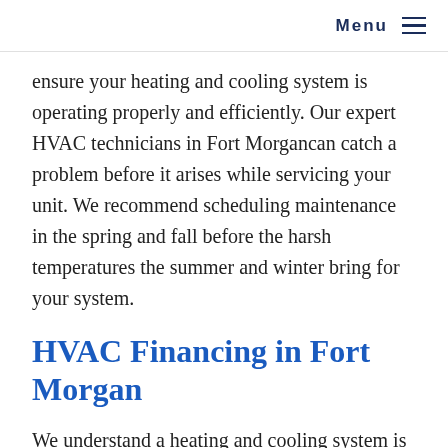Menu ≡
ensure your heating and cooling system is operating properly and efficiently. Our expert HVAC technicians in Fort Morgancan catch a problem before it arises while servicing your unit. We recommend scheduling maintenance in the spring and fall before the harsh temperatures the summer and winter bring for your system.
HVAC Financing in Fort Morgan
We understand a heating and cooling system is an investment for homeowners. At Anchor Air, we